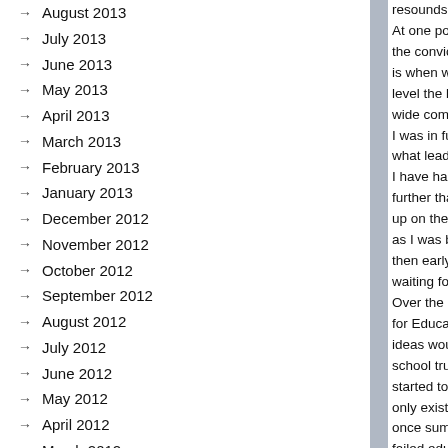August 2013
July 2013
June 2013
May 2013
April 2013
March 2013
February 2013
January 2013
December 2012
November 2012
October 2012
September 2012
August 2012
July 2012
June 2012
May 2012
April 2012
March 2012
February 2012
January 2012
December 2011
resounds acros At one point I s the conviction is when we allo level the best t wide compass I was in full ver what leads to s I have had the p further than I c up on the leafy as I was back h then early enou waiting for the Over the cours for Education, ideas would str school trustees started to think only exist wher once summed t failed educatio There are manu